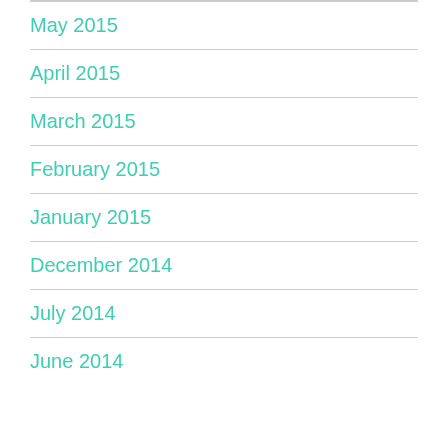May 2015
April 2015
March 2015
February 2015
January 2015
December 2014
July 2014
June 2014